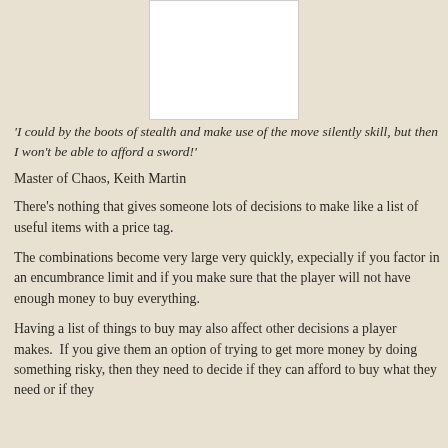[Figure (other): White rectangle placeholder image at top center of page]
'I could by the boots of stealth and make use of the move silently skill, but then I won't be able to afford a sword!'
Master of Chaos, Keith Martin
There's nothing that gives someone lots of decisions to make like a list of useful items with a price tag.
The combinations become very large very quickly, expecially if you factor in an encumbrance limit and if you make sure that the player will not have enough money to buy everything.
Having a list of things to buy may also affect other decisions a player makes.  If you give them an option of trying to get more money by doing something risky, then they need to decide if they can afford to buy what they need or if they